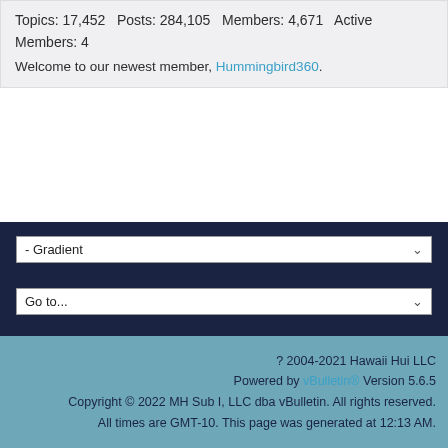Topics: 17,452   Posts: 284,105   Members: 4,671   Active Members: 4
Welcome to our newest member, Hummingbird360.
- Gradient (dropdown)
Go to... (dropdown)
? 2004-2021 Hawaii Hui LLC
Powered by vBulletin® Version 5.6.5
Copyright © 2022 MH Sub I, LLC dba vBulletin. All rights reserved.
All times are GMT-10. This page was generated at 12:13 AM.